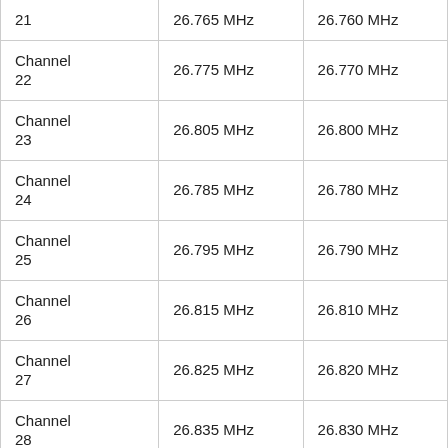| 21 | 26.765 MHz | 26.760 MHz |
| Channel 22 | 26.775 MHz | 26.770 MHz |
| Channel 23 | 26.805 MHz | 26.800 MHz |
| Channel 24 | 26.785 MHz | 26.780 MHz |
| Channel 25 | 26.795 MHz | 26.790 MHz |
| Channel 26 | 26.815 MHz | 26.810 MHz |
| Channel 27 | 26.825 MHz | 26.820 MHz |
| Channel 28 | 26.835 MHz | 26.830 MHz |
| Channel 29 | 26.845 MHz | 26.840 MHz |
| Channel 30 | 26.855 MHz | 26.850 MHz |
| Channel 31 | 26.865 MHz | 26.860 MHz |